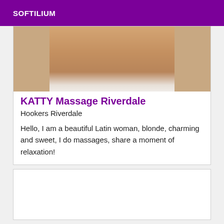SOFTILIUM
[Figure (photo): Partial photo showing legs of a person, lower body view]
KATTY Massage Riverdale
Hookers Riverdale
Hello, I am a beautiful Latin woman, blonde, charming and sweet, I do massages, share a moment of relaxation!